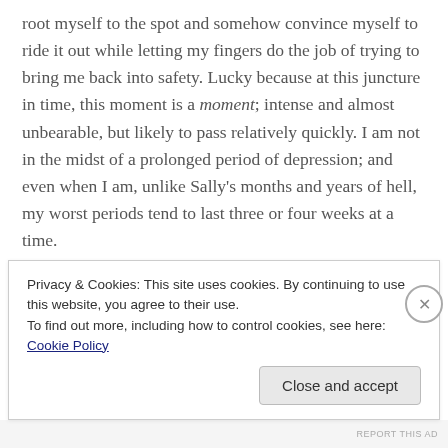root myself to the spot and somehow convince myself to ride it out while letting my fingers do the job of trying to bring me back into safety. Lucky because at this juncture in time, this moment is a moment; intense and almost unbearable, but likely to pass relatively quickly. I am not in the midst of a prolonged period of depression; and even when I am, unlike Sally's months and years of hell, my worst periods tend to last three or four weeks at a time.

It's been almost two and a half hours now, of sitting in one spot, waiting to feel safer. I feel a bit safer. Maybe safe enough to risk moving. My inner critic berates me for
Privacy & Cookies: This site uses cookies. By continuing to use this website, you agree to their use.
To find out more, including how to control cookies, see here: Cookie Policy